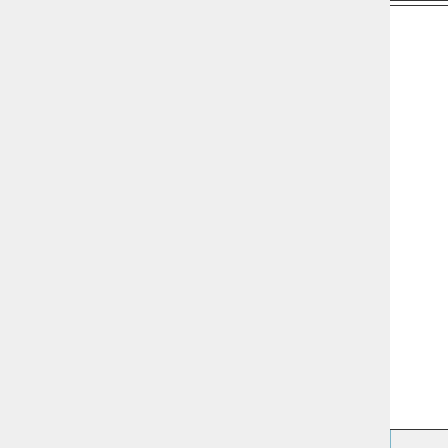|  |  |  |
| --- | --- | --- |
| 3 | Input_Opt%PF_IFILE | Specify the (usually c Planefl for the pla This file is may use c YYYY, M and GEO these with values.

If the plan turned on look for a Planefl file for eac Then it wi quantities defined w Planefl |